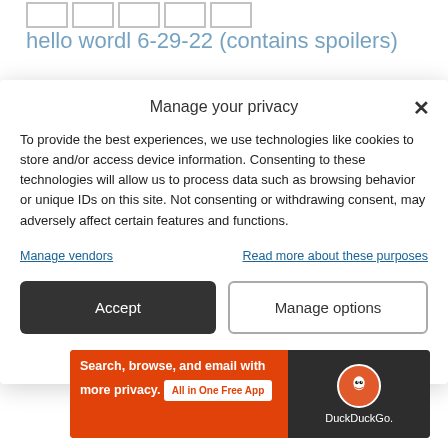[Figure (screenshot): Wordle letter boxes at top, five empty grid cells]
hello wordl 6-29-22 (contains spoilers)
Manage your privacy
To provide the best experiences, we use technologies like cookies to store and/or access device information. Consenting to these technologies will allow us to process data such as browsing behavior or unique IDs on this site. Not consenting or withdrawing consent, may adversely affect certain features and functions.
Manage vendors   Read more about these purposes
Accept   Manage options
Cookie Policy   Privacy Statement
[Figure (screenshot): DuckDuckGo advertisement banner: Search, browse, and email with more privacy. All in One Free App. DuckDuckGo logo on dark background.]